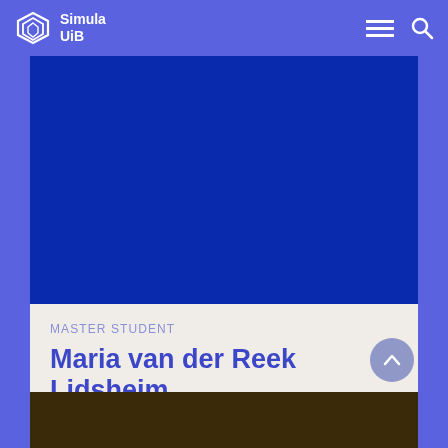Simula UiB
[Figure (photo): Blue placeholder image for person profile photo]
MASTER STUDENT
Maria van der Reek Lidsheim
[Figure (photo): Partial image strip at bottom of page]